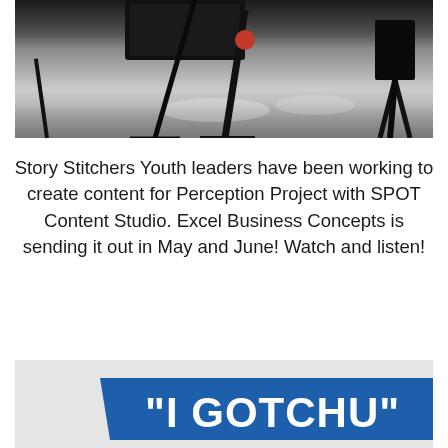[Figure (photo): Indoor studio/production space with camera tripods and equipment on a reflective polished concrete floor, overhead lighting visible.]
Story Stitchers Youth leaders have been working to create content for Perception Project with SPOT Content Studio. Excel Business Concepts is sending it out in May and June! Watch and listen!
[Figure (photo): Light gray background with a bold blue banner containing white bold text reading "I GOTCHU" in large letters.]